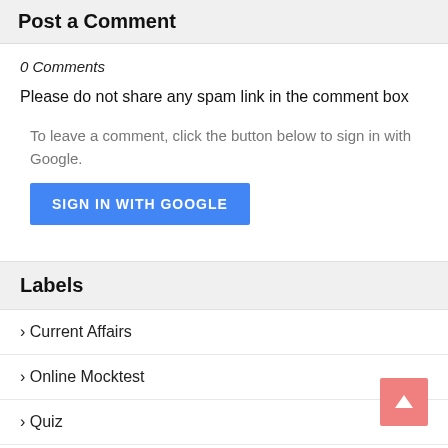Post a Comment
0 Comments
Please do not share any spam link in the comment box
To leave a comment, click the button below to sign in with Google.
[Figure (other): Blue SIGN IN WITH GOOGLE button]
Labels
Current Affairs
Online Mocktest
Quiz